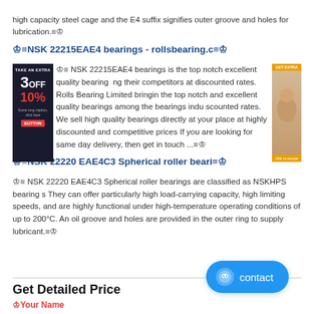high capacity steel cage and the E4 suffix signifies outer groove and holes for lubrication.
NSK 22215EAE4 bearings - rollsbearing.c
NSK 22215EAE4 bearings is the top notch excellent quality bearing among their competitors at discounted rates. Rolls Bearing Limited bringing the top notch and excellent quality bearings among the bearings industry at discounted rates. We sell high quality bearings directly at your place at highly discounted and competitive prices If you are looking for same day delivery, then get in touch ...
NSK 22220 EAE4C3 Spherical roller beari
NSK 22220 EAE4C3 Spherical roller bearings are classified as NSKHPS bearing s They can offer particularly high load-carrying capacity, high limiting speeds, and are highly functional under high-temperature operating conditions of up to 200°C. An oil groove and holes are provided in the outer ring to supply lubricant.
Get Detailed Price
Your Name